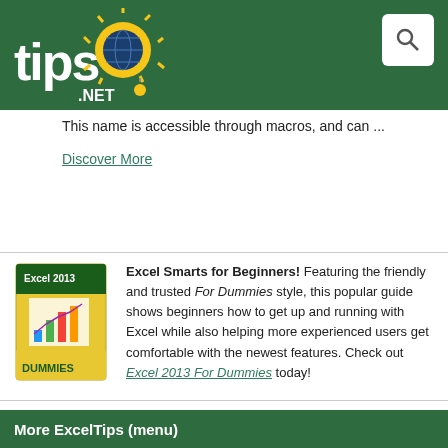tips.NET
This name is accessible through macros, and can ...
Discover More
Excel Smarts for Beginners! Featuring the friendly and trusted For Dummies style, this popular guide shows beginners how to get up and running with Excel while also helping more experienced users get comfortable with the newest features. Check out Excel 2013 For Dummies today!
More ExcelTips (menu)